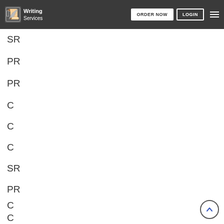Writing Services | ORDER NOW | LOGIN
SR
PR
PR
C
C
C
SR
PR
C
C